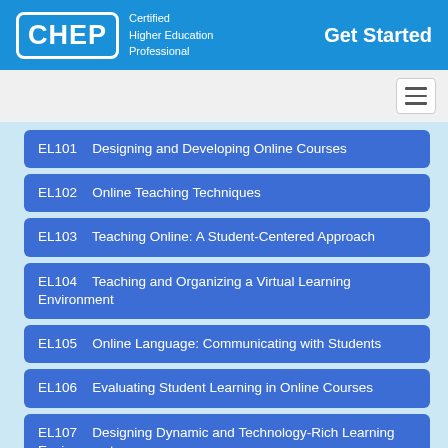[Figure (logo): CHEP - Certified Higher Education Professional logo with white border box]
Get Started
EL101   Designing and Developing Online Courses
EL102   Online Teaching Techniques
EL103   Teaching Online: A Student-Centered Approach
EL104   Teaching and Organizing a Virtual Learning Environment
EL105   Online Language: Communicating with Students
EL106   Evaluating Student Learning in Online Courses
EL107   Designing Dynamic and Technology-Rich Learning Environments
EL108   Preparing Students to Become Good Online Learners